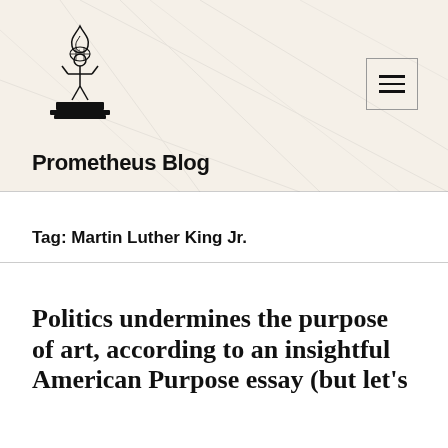[Figure (logo): Prometheus figure logo — a stylized figure holding a flame above their head on a pedestal, black line art]
Prometheus Blog
Tag: Martin Luther King Jr.
Politics undermines the purpose of art, according to an insightful American Purpose essay (but let's